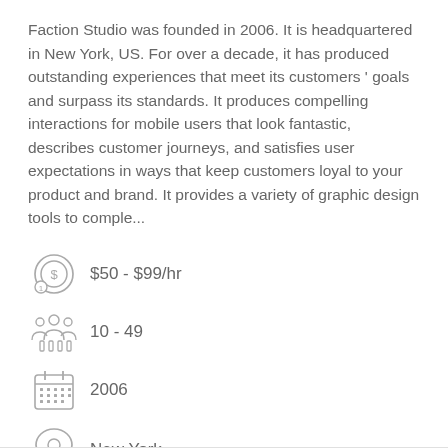Faction Studio was founded in 2006. It is headquartered in New York, US. For over a decade, it has produced outstanding experiences that meet its customers ' goals and surpass its standards. It produces compelling interactions for mobile users that look fantastic, describes customer journeys, and satisfies user expectations in ways that keep customers loyal to your product and brand. It provides a variety of graphic design tools to comple...
$50 - $99/hr
10 - 49
2006
New York